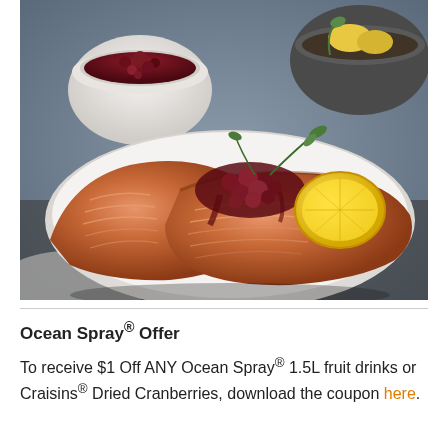[Figure (photo): A plated seared salmon fillet topped with cranberry relish and fresh herbs, served with a roasted lemon half on a white oval plate. In the background is a white bowl filled with cranberries and a dark pot with vegetables.]
Ocean Spray® Offer
To receive $1 Off ANY Ocean Spray® 1.5L fruit drinks or Craisins® Dried Cranberries, download the coupon here.